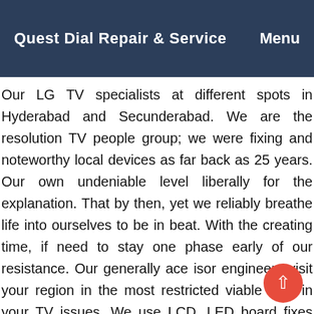Quest Dial Repair & Service   Menu
Our LG TV specialists at different spots in Hyderabad and Secunderabad. We are the resolution TV people group; we were fixing and noteworthy local devices as far back as 25 years. Our own undeniable level liberally for the explanation. That by then, yet we reliably breathe life into ourselves to be in beat. With the creating time, if need to stay one phase early of our resistance. Our generally ace isor engineers visit your region in the most restricted viable time in your TV issues. We use LCD, LED board fixes contraption to the TV show. Home commitments are the TV fixes, topic lists. Were unbelievable and trusted in longing for fixes and ation of your LCD, LED, plasma, HD, and sharp TV. Our cian available for all day, every day. Therefore, if you are experiencing issues.